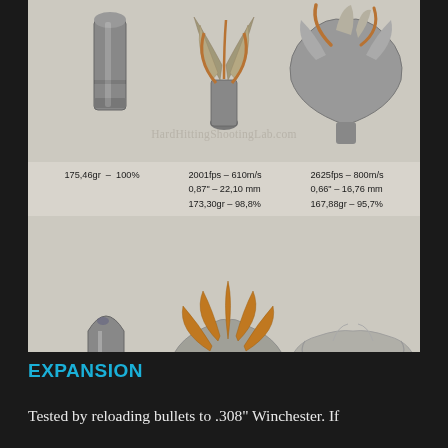[Figure (photo): Photo of bullet expansion test showing three bullets/fragments in top row and three in bottom row against gray background. Top row: intact bullet (left), partially expanded bullet (center), fully expanded bullet (right). Bottom row: intact bullet (left), expanded fragments (center), flattened slug (right). Watermark: HardHittingShootingLab.com. Data annotations: 175,46gr - 100% (left), 2001fps - 610m/s / 0,87" - 22,10 mm / 173,30gr - 98,8% (center), 2625fps - 800m/s / 0,66" - 16,76 mm / 167,88gr - 95,7% (right). Caption: Target: Wet newspapers / Shooting distance 5 meters / Impact speed measured 50cm before the target.]
EXPANSION
Tested by reloading bullets to .308" Winchester. If